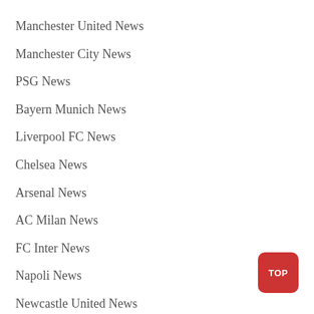Manchester United News
Manchester City News
PSG News
Bayern Munich News
Liverpool FC News
Chelsea News
Arsenal News
AC Milan News
FC Inter News
Napoli News
Newcastle United News